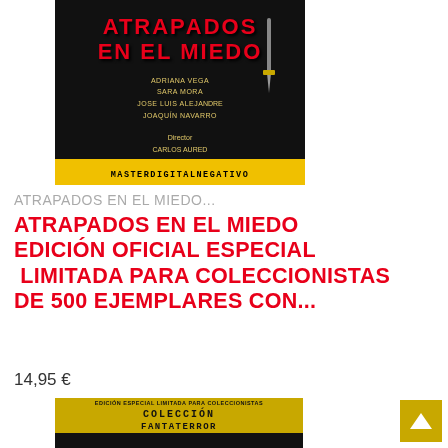[Figure (photo): DVD cover of 'Atrapados en el Miedo' showing title in red text on dark background with cast names and Master Digital Negativo banner at bottom]
ATRAPADOS EN EL MIEDO...
ATRAPADOS EN EL MIEDO EDICIÓN OFICIAL ESPECIAL  LIMITADA PARA COLECCIONISTAS DE 500 EJEMPLARES CON...
14,95 €
[Figure (photo): DVD cover of 'La Orgía de los Muertos' from Colección Fantaterror, showing horror imagery with gold title text on black background]